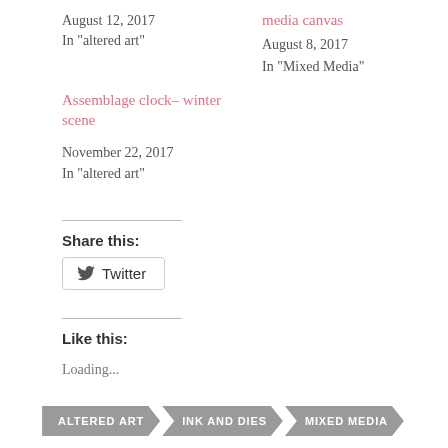August 12, 2017
In "altered art"
media canvas
August 8, 2017
In "Mixed Media"
Assemblage clock– winter scene
November 22, 2017
In "altered art"
Share this:
Twitter
Like this:
Loading...
ALTERED ART
INK AND DIES
MIXED MEDIA